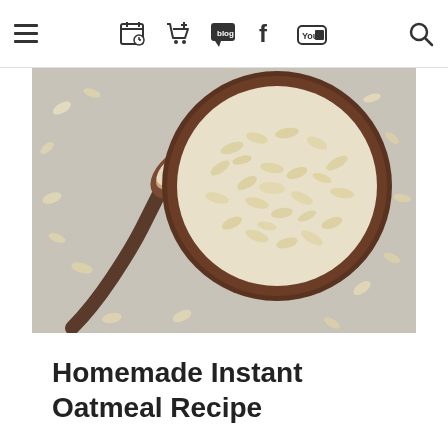Navigation bar with hamburger menu, calendar, cart, blog, facebook, youtube icons, and search icon
[Figure (photo): Overhead photo of rolled oats in a dark wooden bowl with a wooden spoon, oats scattered on a light grey linen background]
Homemade Instant Oatmeal Recipe